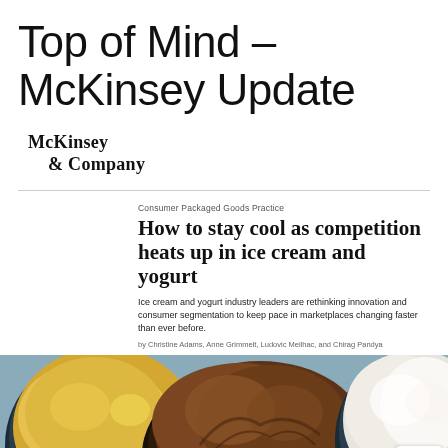Top of Mind – McKinsey Update
[Figure (logo): McKinsey & Company logo]
Consumer Packaged Goods Practice
How to stay cool as competition heats up in ice cream and yogurt
Ice cream and yogurt industry leaders are rethinking innovation and consumer segmentation to keep pace in marketplaces changing faster than ever before.
by Christine Adams, Anne Grimmelt, Ludovic Meilhac, and Chirag Pandya
[Figure (photo): Top-down view of three tubs of ice cream/frozen dessert: yellow (lemon or vanilla), brown/chocolate, and white (coconut or vanilla), on a blue-grey surface.]